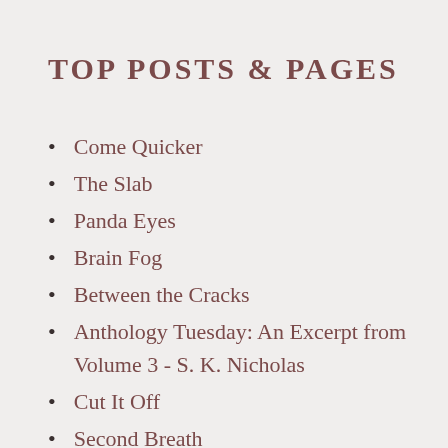TOP POSTS & PAGES
Come Quicker
The Slab
Panda Eyes
Brain Fog
Between the Cracks
Anthology Tuesday: An Excerpt from Volume 3 - S. K. Nicholas
Cut It Off
Second Breath
A Rain That Never Came
Absent Lovers, Again